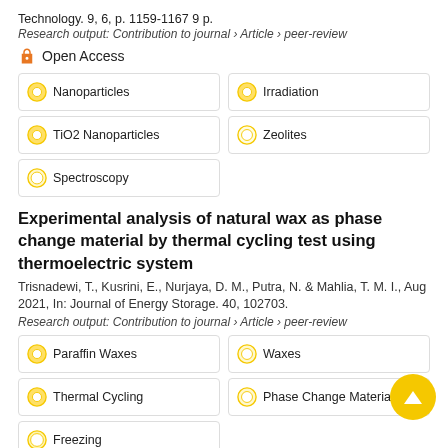Technology. 9, 6, p. 1159-1167 9 p.
Research output: Contribution to journal › Article › peer-review
Open Access
Nanoparticles
Irradiation
TiO2 Nanoparticles
Zeolites
Spectroscopy
Experimental analysis of natural wax as phase change material by thermal cycling test using thermoelectric system
Trisnadewi, T., Kusrini, E., Nurjaya, D. M., Putra, N. & Mahlia, T. M. I., Aug 2021, In: Journal of Energy Storage. 40, 102703.
Research output: Contribution to journal › Article › peer-review
Paraffin Waxes
Waxes
Thermal Cycling
Phase Change Materials
Freezing